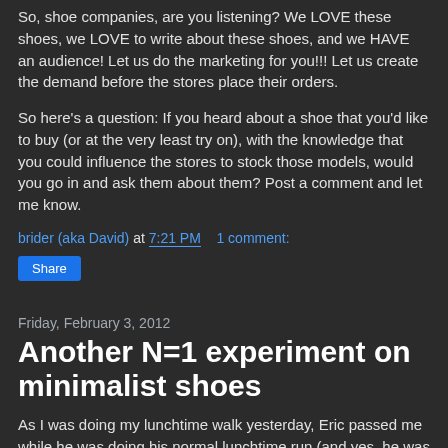So, shoe companies, are you listening? We LOVE these shoes, we LOVE to write about these shoes, and we HAVE an audience! Let us do the marketing for you!!! Let us create the demand before the stores place their orders.
So here's a question: If you heard about a shoe that you'd like to buy (or at the very least try on), with the knowledge that you could influence the stores to stock those models, would you go in and ask them about them? Post a comment and let me know.
brider (aka David) at 7:21 PM   1 comment:
Share
Friday, February 3, 2012
Another N=1 experiment on minimalist shoes
As I was doing my lunchtime walk yesterday, Eric passed me while he was doing his normal lunchtime run (and yes, he was doing his best to rub it in). We talked briefly, and then I sent him on his way so he didn't